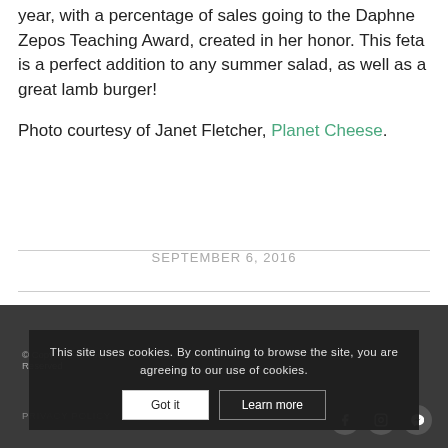year, with a percentage of sales going to the Daphne Zepos Teaching Award, created in her honor. This feta is a perfect addition to any summer salad, as well as a great lamb burger!
Photo courtesy of Janet Fletcher, Planet Cheese.
SEPTEMBER 6, 2016
© Copyright Oxbow Farm & Conservation 2021 | All Rights Reserved
PRIVACY POLICY   LOST & FOUND
This site uses cookies. By continuing to browse the site, you are agreeing to our use of cookies.